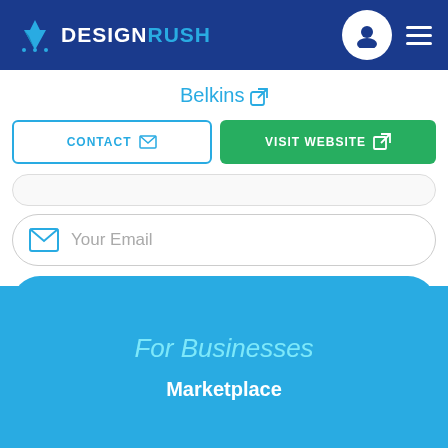DESIGNRUSH
Belkins
CONTACT | VISIT WEBSITE
Your Email
SUBSCRIBE
For Businesses
Marketplace